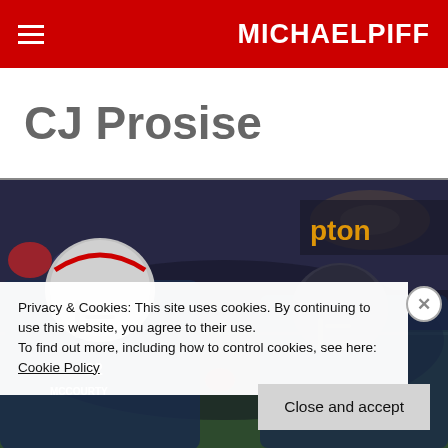MICHAELPIFF
CJ Prosise
[Figure (photo): Football players in New England Patriots uniforms on a night game field, showing player #32 and another player with MCCOURTY jersey]
Privacy & Cookies: This site uses cookies. By continuing to use this website, you agree to their use.
To find out more, including how to control cookies, see here: Cookie Policy
Close and accept